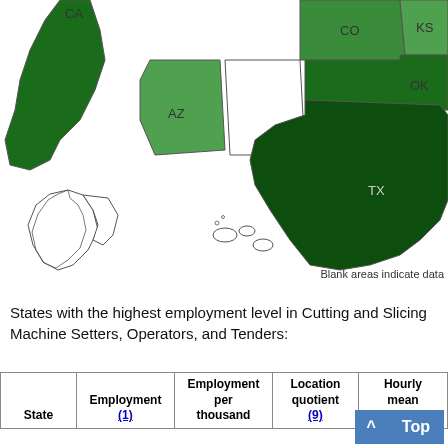[Figure (map): Choropleth map of the United States showing employment levels in Cutting and Slicing Machine Setters, Operators, and Tenders by state. States visible and labeled: CA (dark green), AZ (medium green), CO (medium-dark green), KS (medium green), OK (dark green), TX (darkest green). Alaska and Hawaii shown as insets with white/no-data fill. NM (blank/white). Blank areas indicate missing data.]
Blank areas indicate data
States with the highest employment level in Cutting and Slicing Machine Setters, Operators, and Tenders:
| State | Employment (1) | Employment per thousand | Location quotient (9) | Hourly mean wage |
| --- | --- | --- | --- | --- |